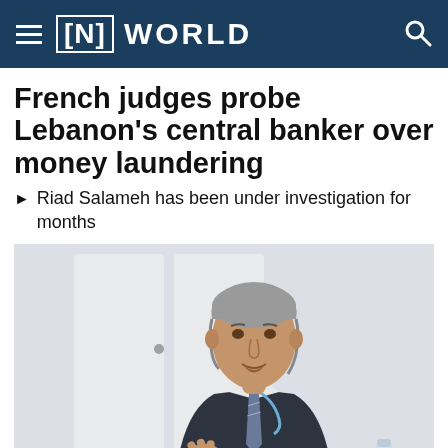≡ [N] WORLD
French judges probe Lebanon's central banker over money laundering
Riad Salameh has been under investigation for months
[Figure (photo): Middle-aged man in dark suit with blue lanyard/tie, gesturing with hand, seated at a table, light background]